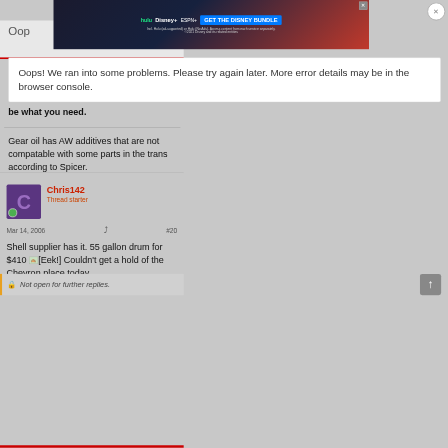[Figure (screenshot): Disney Bundle advertisement banner showing Hulu, Disney+, ESPN+ logos with 'GET THE DISNEY BUNDLE' call to action]
Oops! We ran into some problems. Please try again later. More error details may be in the browser console.
be what you need.
Gear oil has AW additives that are not compatable with some parts in the trans according to Spicer.
Chris142
Thread starter
Mar 14, 2006
#20
Shell supplier has it. 55 gallon drum for $410 [Eek!] Couldn't get a hold of the Chevron place today.
Not open for further replies.